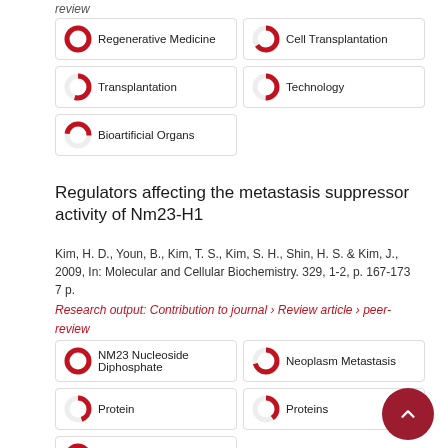review
[Figure (infographic): Keyword badges with donut icons: Regenerative Medicine (100%), Cell Transplantation (~90%), Transplantation (~80%), Technology (~75%), Bioartificial Organs (~50%)]
Regulators affecting the metastasis suppressor activity of Nm23-H1
Kim, H. D., Youn, B., Kim, T. S., Kim, S. H., Shin, H. S. & Kim, J., 2009, In: Molecular and Cellular Biochemistry. 329, 1-2, p. 167-173 7 p.
Research output: Contribution to journal › Review article › peer-review
[Figure (infographic): Keyword badges with donut icons: NM23 Nucleoside Diphosphate (100%), Neoplasm Metastasis (~95%), Protein (~70%), Proteins (~65%), Nucleoside Diphosphate (~50%)]